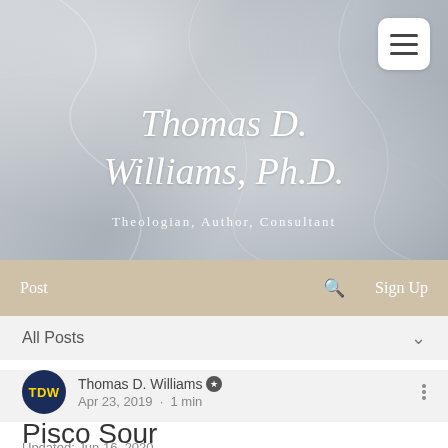[Figure (screenshot): Website hero header with marble texture background]
Thomas D. Williams, Ph.D.
Theologian, Author, Consultant
Post  Search  Sign Up
All Posts
Thomas D. Williams  Apr 23, 2019 · 1 min
Pisco Sour
Updated: Jun 16, 2020